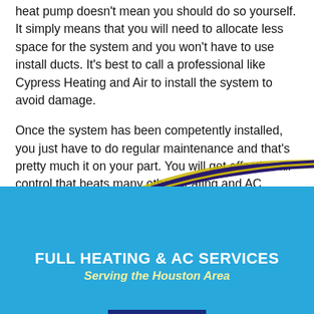heat pump doesn't mean you should do so yourself. It simply means that you will need to allocate less space for the system and you won't have to use install ducts. It's best to call a professional like Cypress Heating and Air to install the system to avoid damage.
Once the system has been competently installed, you just have to do regular maintenance and that's pretty much it on your part. You will get effective air control that beats many other heating and AC systems, with numerous other advantages. This is definitely a system worth getting if you're overdue an HVAC system replacement.
[Figure (illustration): Large dark navy/purple arrow with gold outline curving from the right side across and pointing down-left into the blue section below]
FULL HEATING & AC SERVICES
Serving the Houston Area